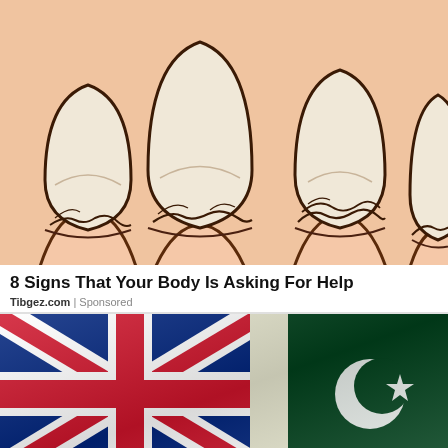[Figure (illustration): Cartoon/illustration of three fingernails viewed from above, showing cracked and peeling nails on a peach-colored hand. The nails appear brittle with split tips.]
8 Signs That Your Body Is Asking For Help
Tibgez.com | Sponsored
[Figure (photo): Photo of two flags side by side: the UK Union Jack flag on the left (red, white, blue) and what appears to be the Pakistani flag on the right (green with white crescent and star). The flags appear draped or folded.]